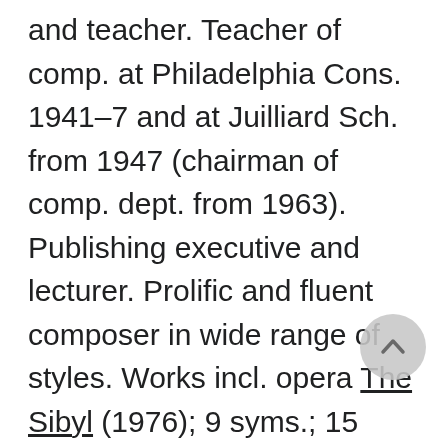and teacher. Teacher of comp. at Philadelphia Cons. 1941–7 and at Juilliard Sch. from 1947 (chairman of comp. dept. from 1963). Publishing executive and lecturer. Prolific and fluent composer in wide range of styles. Works incl. opera The Sibyl (1976); 9 syms.; 15 serenades; pf. conc.; 12 pf. sonatas; 6 pf. sonatinas; 9 hpd. sonatas; 4 str. qts.; septet King Lear; pf. quintet; Stabat Mater; songs; and 25 works (1965–86), mostly for solo instr. under name Parable. Wr...